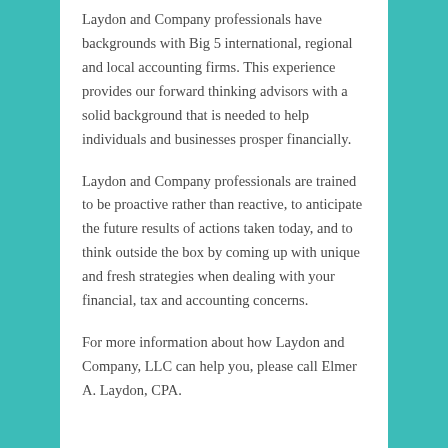Laydon and Company professionals have backgrounds with Big 5 international, regional and local accounting firms. This experience provides our forward thinking advisors with a solid background that is needed to help individuals and businesses prosper financially.
Laydon and Company professionals are trained to be proactive rather than reactive, to anticipate the future results of actions taken today, and to think outside the box by coming up with unique and fresh strategies when dealing with your financial, tax and accounting concerns.
For more information about how Laydon and Company, LLC can help you, please call Elmer A. Laydon, CPA.